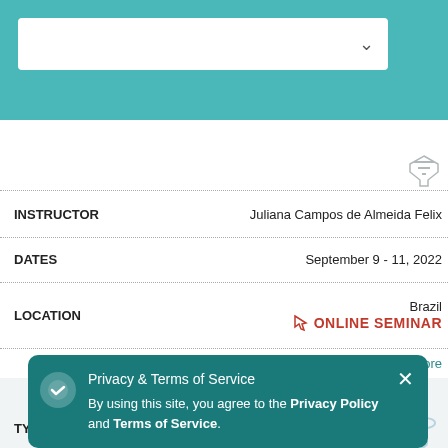[Figure (screenshot): Teal header bar with white search/dropdown box and chevron icon]
[Figure (illustration): Filter funnel icon in top right area]
| Field | Value |
| --- | --- |
| INSTRUCTOR | Juliana Campos de Almeida Felix |
| DATES | September 9 - 11, 2022 |
| LOCATION | Brazil / ONLINE SEMINAR |
Learn More
| Field | Value |
| --- | --- |
| TYPE | BASIC DNA |
| Field | Value |
| --- | --- |
| INSTRUCTOR | Anna Forgony |
Privacy & Terms of Service
By using this site, you agree to the Privacy Policy and Terms of Service.